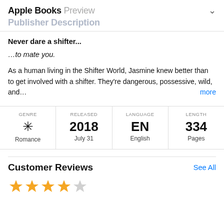Apple Books Preview
Publisher Description
Never dare a shifter...
…to mate you.
As a human living in the Shifter World, Jasmine knew better than to get involved with a shifter. They're dangerous, possessive, wild, and… more
| GENRE | RELEASED | LANGUAGE | LENGTH |
| --- | --- | --- | --- |
| Romance | 2018
July 31 | EN
English | 334
Pages |
Customer Reviews
See All
[Figure (other): Star rating showing 4 out of 5 stars (3 filled gold stars, 1 partial/filled, 1 empty)]